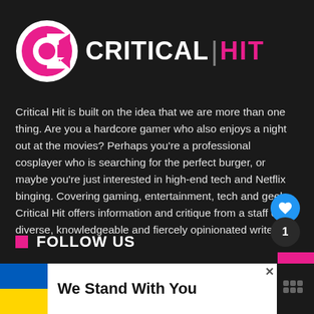[Figure (logo): Critical Hit logo — circular C icon with pink/magenta fill and white ring, followed by CRITICAL|HIT wordmark in white and magenta on dark background]
Critical Hit is built on the idea that we are more than one thing. Are you a hardcore gamer who also enjoys a night out at the movies? Perhaps you're a professional cosplayer who is searching for the perfect burger, or maybe you're just interested in high-end tech and Netflix binging. Covering gaming, entertainment, tech and geek, Critical Hit offers information and critique from a staff of diverse, knowledgeable and fiercely opinionated writers.
FOLLOW US
[Figure (infographic): We Stand With You advertisement banner with blue and yellow Ukrainian flag colors on left side]